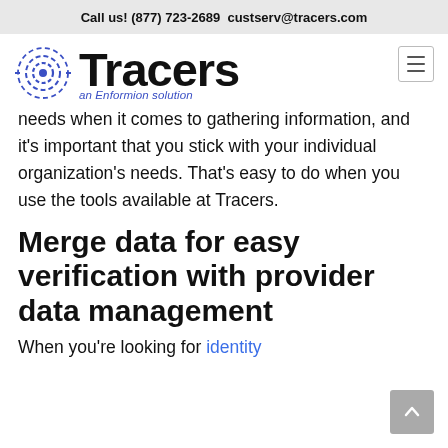Call us! (877) 723-2689  custserv@tracers.com
[Figure (logo): Tracers logo with circular radar icon and 'an Enformion solution' subtitle]
needs when it comes to gathering information, and it's important that you stick with your individual organization's needs. That's easy to do when you use the tools available at Tracers.
Merge data for easy verification with provider data management
When you're looking for identity